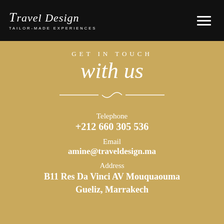Travel Design — TAILOR-MADE EXPERIENCES
GET IN TOUCH with us
Telephone
+212 660 305 536
Email
amine@traveldesign.ma
Address
B11 Res Da Vinci AV Mouquaouma
Gueliz, Marrakech